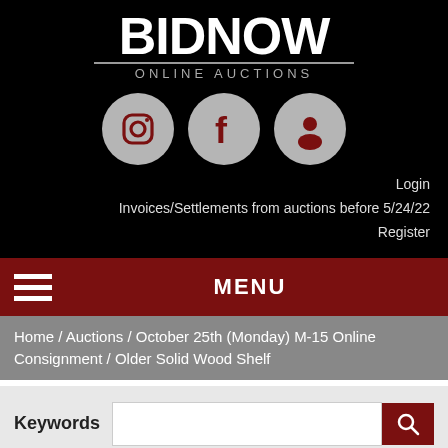[Figure (logo): BidNow Online Auctions logo with white text on black background]
[Figure (illustration): Three social media icons (Instagram, Facebook, User/Account) as dark red icons on gray circles]
Login
Invoices/Settlements from auctions before 5/24/22
Register
MENU
Home /  Auctions / October 25th (Monday) M-15 Online Consignment /   Older Solid Wood Shelf
Keywords